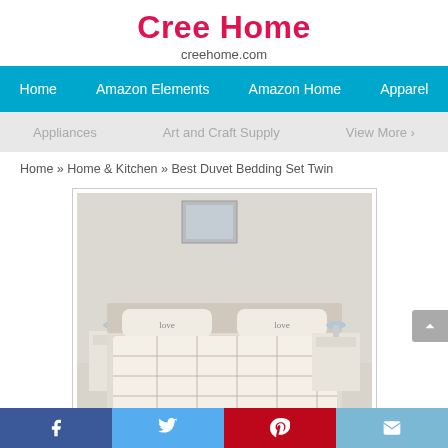Cree Home
creehome.com
Home | Amazon Elements | Amazon Home | Apparel
Appliances | Art and Craft Supply | View More
Home » Home & Kitchen » Best Duvet Bedding Set Twin
[Figure (photo): Product photo of a duvet bedding set on a bed, cream/white with a grid/plaid pattern, shown in a bedroom setting]
Best Duvet Bedding Set Twin